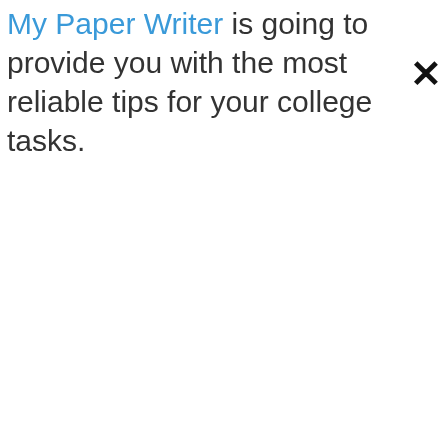My Paper Writer is going to provide you with the most reliable tips for your college tasks.